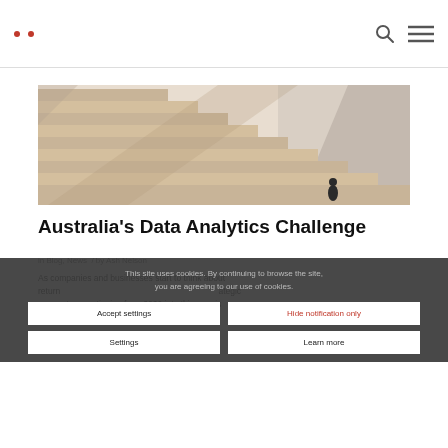Navigation bar with logo dots and search/menu icons
[Figure (photo): A person standing at the bottom of wide stone steps, looking up. Architectural staircase with strong diagonal shadows and warm sandy stone tones.]
Australia's Data Analytics Challenge
in Blog, News / by Ash Nelson
As companies and businesses start to think about return... strategic momentum continuing from 2020 into this year is the importance of data and digital...
This site uses cookies. By continuing to browse the site, you are agreeing to our use of cookies.
Accept settings | Hide notification only | Settings | Learn more